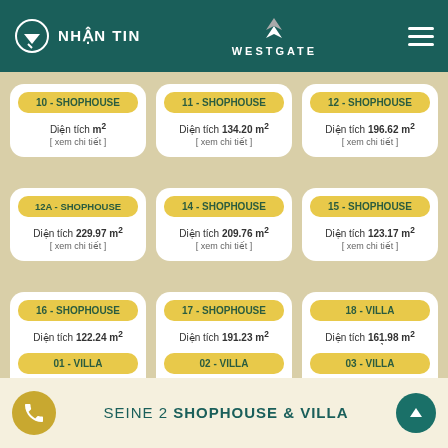NHẬN TIN | WESTGATE
10 - SHOPHOUSE
Diện tích m²
[ xem chi tiết ]
11 - SHOPHOUSE
Diện tích 134.20 m²
[ xem chi tiết ]
12 - SHOPHOUSE
Diện tích 196.62 m²
[ xem chi tiết ]
12A - SHOPHOUSE
Diện tích 229.97 m²
[ xem chi tiết ]
14 - SHOPHOUSE
Diện tích 209.76 m²
[ xem chi tiết ]
15 - SHOPHOUSE
Diện tích 123.17 m²
[ xem chi tiết ]
16 - SHOPHOUSE
Diện tích 122.24 m²
[ xem chi tiết ]
17 - SHOPHOUSE
Diện tích 191.23 m²
[ xem chi tiết ]
18 - VILLA
Diện tích 161.98 m²
3 phòng ngủ, 3wc
[ xem chi tiết ]
SEINE 2 SHOPHOUSE & VILLA
01 - VILLA
02 - VILLA
03 - VILLA